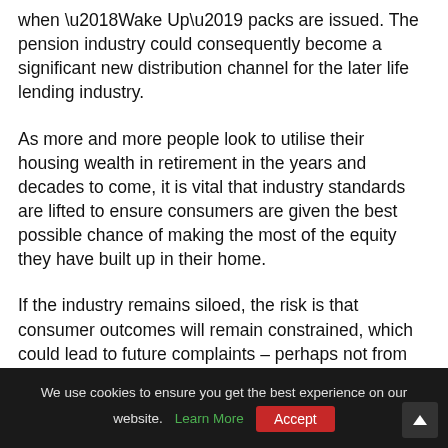when ‘Wake Up’ packs are issued. The pension industry could consequently become a significant new distribution channel for the later life lending industry.
As more and more people look to utilise their housing wealth in retirement in the years and decades to come, it is vital that industry standards are lifted to ensure consumers are given the best possible chance of making the most of the equity they have built up in their home.
If the industry remains siloed, the risk is that consumer outcomes will remain constrained, which could lead to future complaints – perhaps not from the consumers but from family members?
We use cookies to ensure you get the best experience on our website. Learn More  Accept